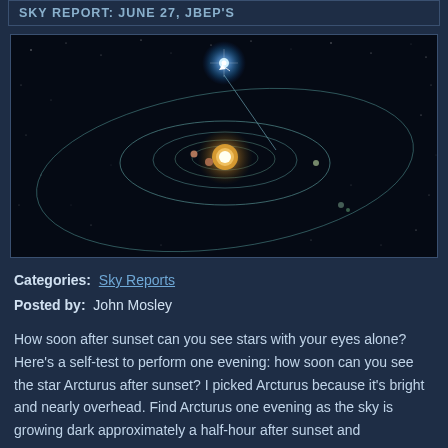SKY REPORT: JUNE 27, JBEP'S
[Figure (illustration): Astronomical diagram showing a solar system with orbital ellipses on a dark space background. A bright blue-white star is visible at the top with a line pointing toward the inner solar system. Planetary orbits shown as ellipses around a central glowing sun, with small planet dots visible.]
Categories:  Sky Reports
Posted by:  John Mosley
How soon after sunset can you see stars with your eyes alone? Here’s a self-test to perform one evening: how soon can you see the star Arcturus after sunset? I picked Arcturus because it’s bright and nearly overhead. Find Arcturus one evening as the sky is growing dark approximately a half-hour after sunset and